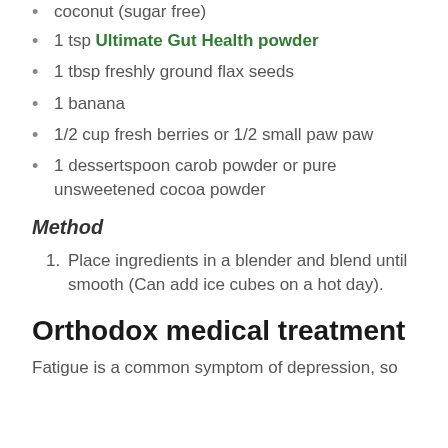coconut (sugar free)
1 tsp Ultimate Gut Health powder
1 tbsp freshly ground flax seeds
1 banana
1/2 cup fresh berries or 1/2 small paw paw
1 dessertspoon carob powder or pure unsweetened cocoa powder
Method
Place ingredients in a blender and blend until smooth (Can add ice cubes on a hot day).
Orthodox medical treatment
Fatigue is a common symptom of depression, so